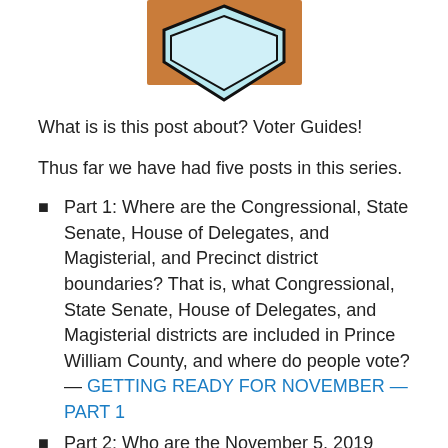[Figure (logo): A geometric logo/icon showing a light blue diamond or shield shape with a dark outline, overlaid on an orange/brown rectangular background, centered at the top of the page.]
What is is this post about? Voter Guides!
Thus far we have had five posts in this series.
Part 1: Where are the Congressional, State Senate, House of Delegates, and Magisterial, and Precinct district boundaries? That is, what Congressional, State Senate, House of Delegates, and Magisterial districts are included in Prince William County, and where do people vote? — GETTING READY FOR NOVEMBER — PART 1
Part 2: Who are the November 5, 2019 election candidates in Prince William County? — WHO IS RUNNING FOR THE PRINCE WILLIAM COUNTY...